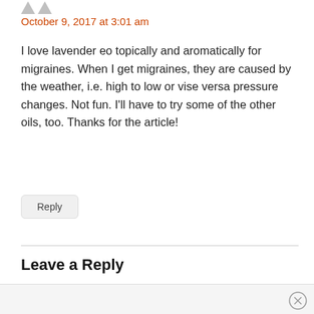October 9, 2017 at 3:01 am
I love lavender eo topically and aromatically for migraines. When I get migraines, they are caused by the weather, i.e. high to low or vise versa pressure changes. Not fun. I'll have to try some of the other oils, too. Thanks for the article!
Reply
Leave a Reply
Name (required)